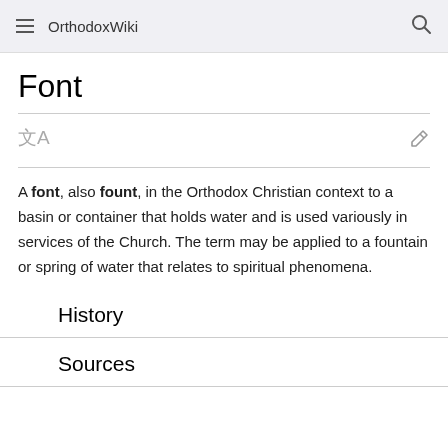OrthodoxWiki
Font
A font, also fount, in the Orthodox Christian context to a basin or container that holds water and is used variously in services of the Church. The term may be applied to a fountain or spring of water that relates to spiritual phenomena.
History
Sources